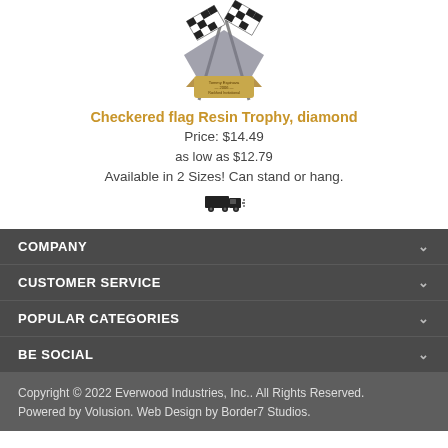[Figure (photo): Checkered flag resin trophy award with two crossed checkered racing flags and a gold engraved plaque reading Tommy Espinoza 2006 Rockford Invitational]
Checkered flag Resin Trophy, diamond
Price: $14.49
as low as $12.79
Available in 2 Sizes! Can stand or hang.
[Figure (illustration): Truck/shipping icon with motion lines]
COMPANY
CUSTOMER SERVICE
POPULAR CATEGORIES
BE SOCIAL
Copyright © 2022 Everwood Industries, Inc.. All Rights Reserved. Powered by Volusion. Web Design by Border7 Studios.